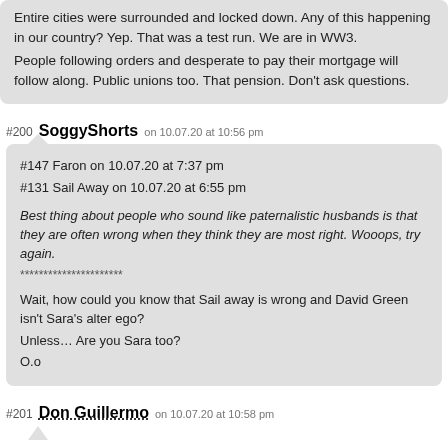Entire cities were surrounded and locked down. Any of this happening in our country? Yep. That was a test run. We are in WW3.
People following orders and desperate to pay their mortgage will follow along. Public unions too. That pension. Don't ask questions.
#200 SoggyShorts on 10.07.20 at 10:56 pm
#147 Faron on 10.07.20 at 7:37 pm
#131 Sail Away on 10.07.20 at 6:55 pm

Best thing about people who sound like paternalistic husbands is that they are often wrong when they think they are most right. Wooops, try again.
**********************
Wait, how could you know that Sail away is wrong and David Green isn't Sara's alter ego?
Unless… Are you Sara too?
O.o
#201 Don Guillermo on 10.07.20 at 10:58 pm